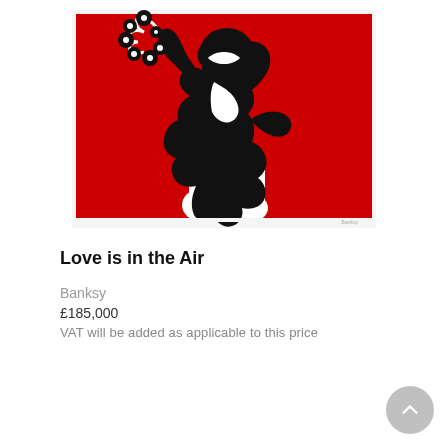[Figure (illustration): Banksy's 'Love is in the Air' artwork — a black silhouette figure in a throwing pose against a red background, holding a bouquet of flowers instead of a weapon. White highlights define the figure's clothing and the flowers.]
Love is in the Air
Banksy
£185,000
VAT will be added as applicable to this price